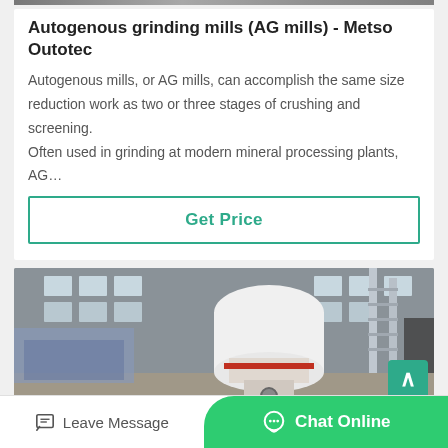[Figure (photo): Top partial image of a grinding mill or industrial machinery, cropped at the top of the page]
Autogenous grinding mills (AG mills) - Metso Outotec
Autogenous mills, or AG mills, can accomplish the same size reduction work as two or three stages of crushing and screening. Often used in grinding at modern mineral processing plants, AG…
Get Price
[Figure (photo): Industrial factory interior showing a large white grinding mill machine with red base markings, surrounded by industrial equipment, scaffolding, and a ladder in the background]
Leave Message  Chat Online